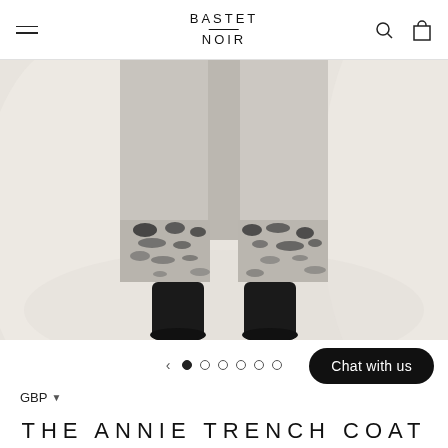BASTET NOIR
[Figure (photo): Fashion photo showing lower half of a person wearing a long grey trench coat with black abstract print/pattern band near the hem, paired with black knee-high boots, against a white draped fabric background.]
< • ○ ○ ○ ○ ○   Chat with us
GBP ▼
THE ANNIE TRENCH COAT